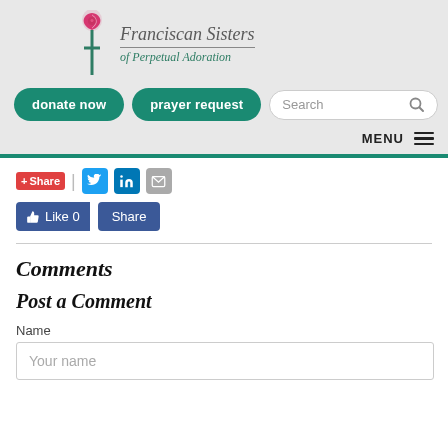Franciscan Sisters of Perpetual Adoration
[Figure (logo): Franciscan Sisters of Perpetual Adoration logo with rose and cross icon, teal and rose colors]
Comments
Post a Comment
Name
Your name